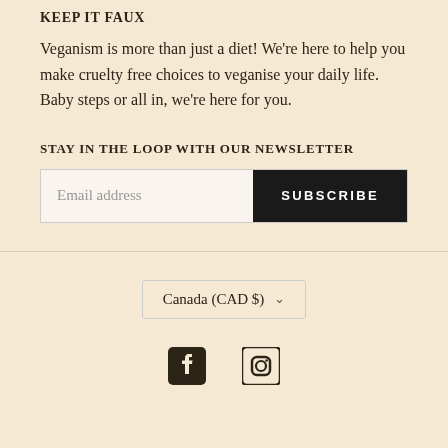KEEP IT FAUX
Veganism is more than just a diet! We're here to help you make cruelty free choices to veganise your daily life. Baby steps or all in, we're here for you.
STAY IN THE LOOP WITH OUR NEWSLETTER
[Figure (other): Email subscription form with text input labeled 'Email address' and a black SUBSCRIBE button]
[Figure (other): Country/currency selector dropdown showing 'Canada (CAD $)' with chevron]
[Figure (other): Social media icons: Facebook and Instagram]